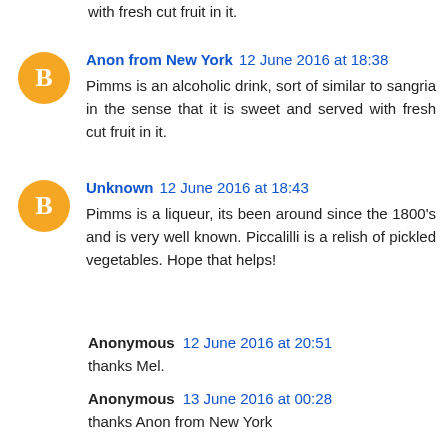with fresh cut fruit in it.
Anon from New York  12 June 2016 at 18:38
Pimms is an alcoholic drink, sort of similar to sangria in the sense that it is sweet and served with fresh cut fruit in it.
Unknown  12 June 2016 at 18:43
Pimms is a liqueur, its been around since the 1800's and is very well known. Piccalilli is a relish of pickled vegetables. Hope that helps!
Anonymous  12 June 2016 at 20:51
thanks Mel.
Anonymous  13 June 2016 at 00:28
thanks Anon from New York